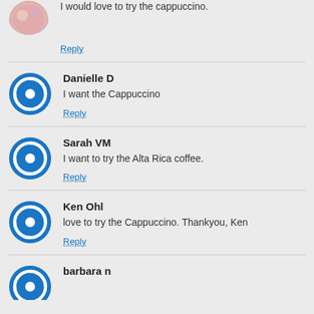I would love to try the cappuccino.
Reply
Danielle D
I want the Cappuccino
Reply
Sarah VM
I want to try the Alta Rica coffee.
Reply
Ken Ohl
love to try the Cappuccino. Thankyou, Ken
Reply
barbara n